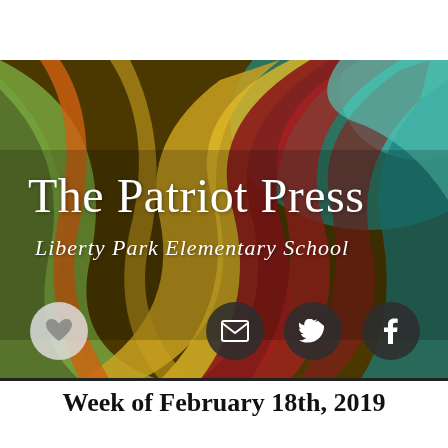[Figure (illustration): Colorful curled paper strips in red, yellow, green, teal, and orange forming a decorative banner background with 'The Patriot Press' and 'Liberty Park Elementary School' text overlaid in white, plus social media and heart icons at the bottom.]
The Patriot Press
Liberty Park Elementary School
Week of February 18th, 2019